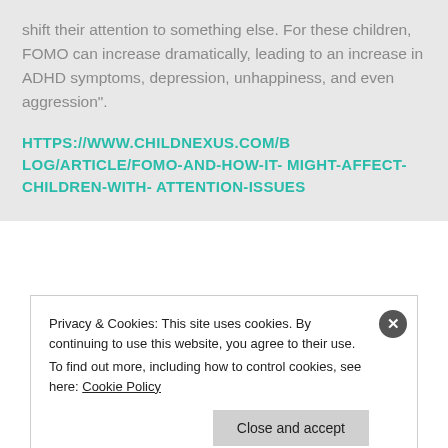shift their attention to something else. For these children, FOMO can increase dramatically, leading to an increase in ADHD symptoms, depression, unhappiness, and even aggression".
HTTPS://WWW.CHILDNEXUS.COM/BLOG/ARTICLE/FOMO-AND-HOW-IT-MIGHT-AFFECT-CHILDREN-WITH-ATTENTION-ISSUES
Privacy & Cookies: This site uses cookies. By continuing to use this website, you agree to their use.
To find out more, including how to control cookies, see here: Cookie Policy